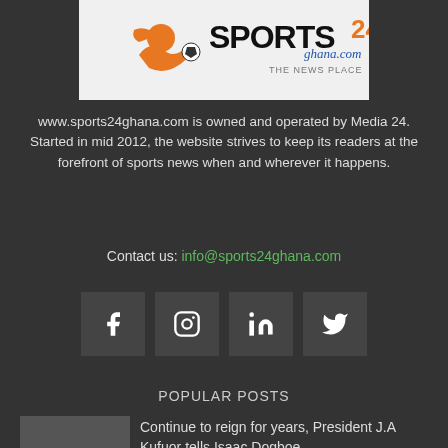[Figure (logo): Sports24Ghana.com logo with orange soccer player figure and text]
www.sports24ghana.com is owned and operated by Media 24. Started in mid 2012, the website strives to keep its readers at the forefront of sports news when and wherever it happens.
Contact us: info@sports24ghana.com
[Figure (other): Social media icons: Facebook, Instagram, LinkedIn, Twitter]
POPULAR POSTS
Continue to reign for years, President J.A Kufuor tells Isaac Dogboe
July 25, 2018